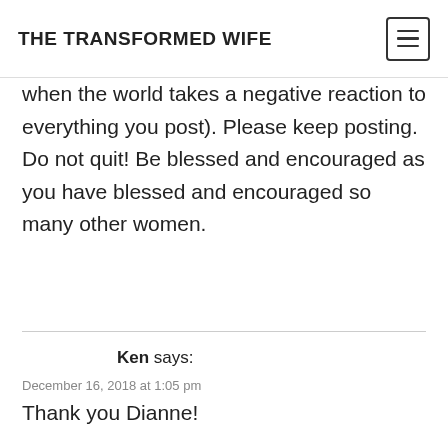THE TRANSFORMED WIFE
when the world takes a negative reaction to everything you post). Please keep posting. Do not quit! Be blessed and encouraged as you have blessed and encouraged so many other women.
Ken says:
December 16, 2018 at 1:05 pm
Thank you Dianne!